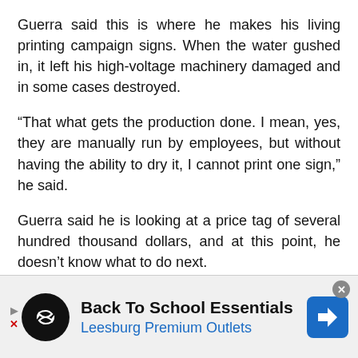Guerra said this is where he makes his living printing campaign signs. When the water gushed in, it left his high-voltage machinery damaged and in some cases destroyed.
“That what gets the production done. I mean, yes, they are manually run by employees, but without having the ability to dry it, I cannot print one sign,” he said.
Guerra said he is looking at a price tag of several hundred thousand dollars, and at this point, he doesn’t know what to do next.
“Our goal is just to get the employees back and get back to work that needs to get done, and try to
[Figure (other): Advertisement banner for Back To School Essentials at Leesburg Premium Outlets. Dark background with circular logo showing infinity symbol, navigation arrow icon on the right.]